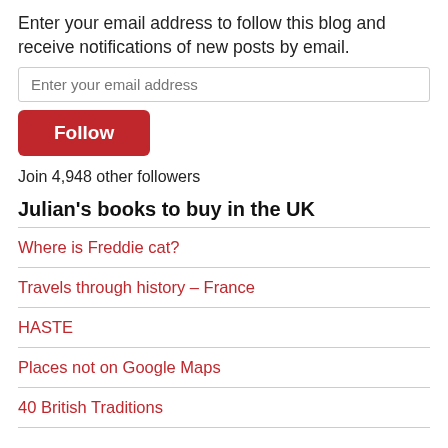Enter your email address to follow this blog and receive notifications of new posts by email.
Enter your email address
Follow
Join 4,948 other followers
Julian's books to buy in the UK
Where is Freddie cat?
Travels through history – France
HASTE
Places not on Google Maps
40 British Traditions